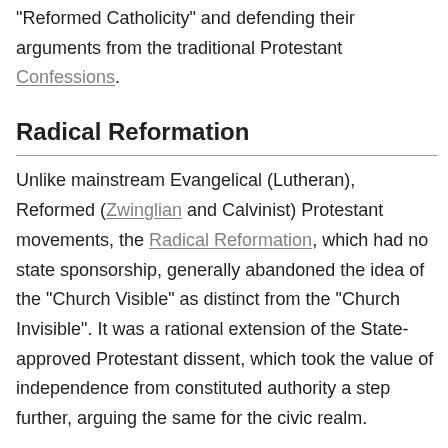"Reformed Catholicity" and defending their arguments from the traditional Protestant Confessions.
Radical Reformation
Unlike mainstream Evangelical (Lutheran), Reformed (Zwinglian and Calvinist) Protestant movements, the Radical Reformation, which had no state sponsorship, generally abandoned the idea of the "Church Visible" as distinct from the "Church Invisible". It was a rational extension of the State-approved Protestant dissent, which took the value of independence from constituted authority a step further, arguing the same for the civic realm.
Protestant ecclesial leaders such as Hubmaier and